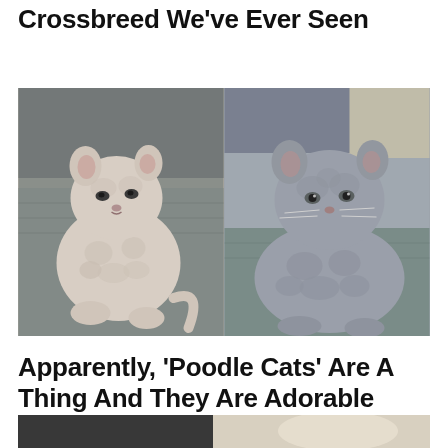Dachshund And It's The Weirdest Crossbreed We've Ever Seen
[Figure (photo): Two curly-haired cats side by side: left is a small white/cream poodle-like kitten sitting on a blanket; right is a grey fluffy curly-coated cat looking at camera]
Apparently, 'Poodle Cats' Are A Thing And They Are Adorable
[Figure (photo): Partial view of two cats, one dark and one white/cream, cropped at bottom of page]